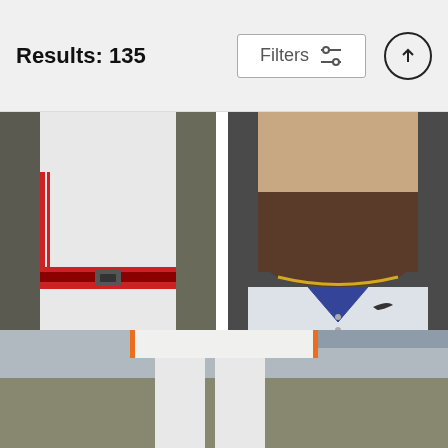Results: 135  Filters
[Figure (photo): Baseball player in white Red Sox uniform, cropped to torso area showing red belt]
Red Phillips
Mike Mcginnis
$9.62
[Figure (photo): Baseball player in white Cleveland Indians uniform, close-up of neck/chest area showing Nike collar and gold chain]
Cleveland Indians Photo Day
Rob Tringali
$9.62
[Figure (photo): Baseball player in Houston Astros uniform and helmet, wearing number on jersey, standing on field]